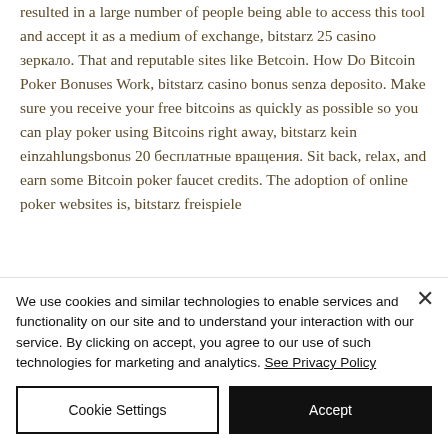resulted in a large number of people being able to access this tool and accept it as a medium of exchange, bitstarz 25 casino зеркало. That and reputable sites like Betcoin. How Do Bitcoin Poker Bonuses Work, bitstarz casino bonus senza deposito. Make sure you receive your free bitcoins as quickly as possible so you can play poker using Bitcoins right away, bitstarz kein einzahlungsbonus 20 бесплатные вращения. Sit back, relax, and earn some Bitcoin poker faucet credits. The adoption of online poker websites is, bitstarz freispiele...
We use cookies and similar technologies to enable services and functionality on our site and to understand your interaction with our service. By clicking on accept, you agree to our use of such technologies for marketing and analytics. See Privacy Policy